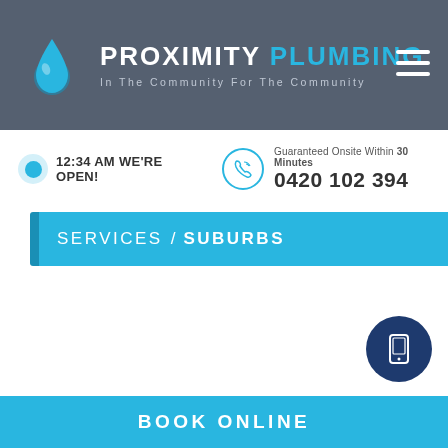PROXIMITY PLUMBING — In The Community For The Community
12:34 AM WE'RE OPEN!
Guaranteed Onsite Within 30 Minutes
0420 102 394
SERVICES / SUBURBS
BOOK ONLINE